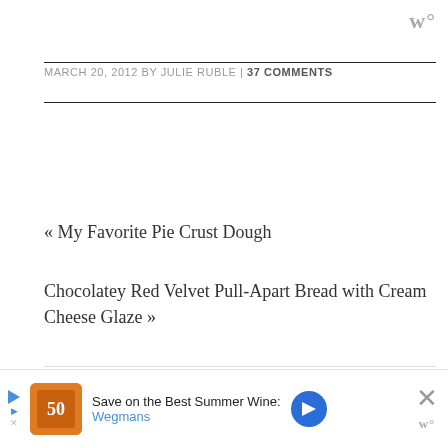w°
MARCH 20, 2012 BY JULIE RUBLE | 37 COMMENTS
« My Favorite Pie Crust Dough
Chocolatey Red Velvet Pull-Apart Bread with Cream Cheese Glaze »
37 Comments on Chocolate &
[Figure (other): Advertisement banner: Save on the Best Summer Wines - Wegmans]